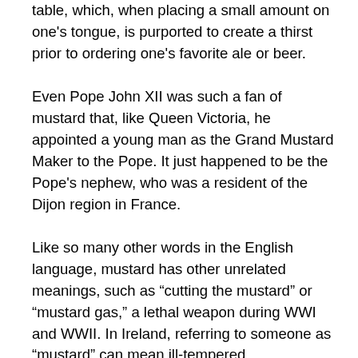table, which, when placing a small amount on one's tongue, is purported to create a thirst prior to ordering one's favorite ale or beer.
Even Pope John XII was such a fan of mustard that, like Queen Victoria, he appointed a young man as the Grand Mustard Maker to the Pope. It just happened to be the Pope's nephew, who was a resident of the Dijon region in France.
Like so many other words in the English language, mustard has other unrelated meanings, such as "cutting the mustard" or "mustard gas," a lethal weapon during WWI and WWII. In Ireland, referring to someone as "mustard" can mean ill-tempered.
Regardless of your preferences (make mine Grey Poupon, please) there are hundreds of mustards to choose from. If you just can't get enough, you can visit the National Mustard Museum in Middleton, Wisconsin, where more than 5,500 mustards are on display, and you can sample many of them at the tasting bar. And of